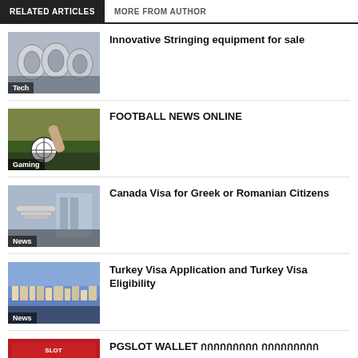RELATED ARTICLES | MORE FROM AUTHOR
[Figure (photo): Industrial stringing equipment machinery, category label: Tech]
Innovative Stringing equipment for sale
[Figure (photo): Football/soccer ball with player foot, category label: Gaming]
FOOTBALL NEWS ONLINE
[Figure (photo): Kitchen plates and restaurant scene, category label: News]
Canada Visa for Greek or Romanian Citizens
[Figure (photo): Aerial city view with buildings and harbor, category label: News]
Turkey Visa Application and Turkey Visa Eligibility
[Figure (photo): SLOT machine red casino image, category label: (none visible)]
PGSLOT WALLET กกกกกกกกก กกกกกกกกก